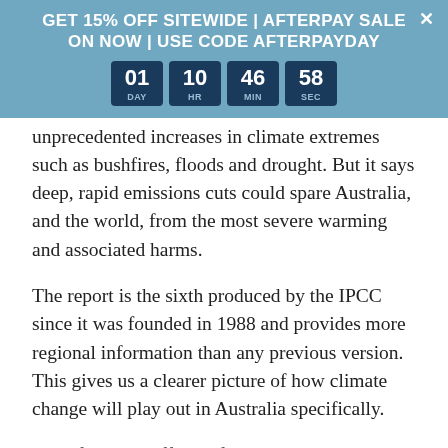GET 15% OFF SITEWIDE | AFTERPAY SALE ON NOW | USE CODE AFTERPAYDAY
[Figure (other): Countdown timer showing 01 DAY, 10 HR, 46 MIN, 58 SEC in dark blue tiles on teal banner]
unprecedented increases in climate extremes such as bushfires, floods and drought. But it says deep, rapid emissions cuts could spare Australia, and the world, from the most severe warming and associated harms.
The report is the sixth produced by the IPCC since it was founded in 1988 and provides more regional information than any previous version. This gives us a clearer picture of how climate change will play out in Australia specifically.
It confirms the effects of human-caused climate change have well and truly arrived in Australia. This includes in the region of the East Australia Current, where the ocean is warming at a rate more than four times the global average.